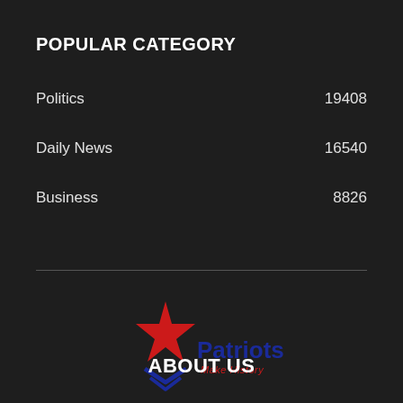POPULAR CATEGORY
Politics  19408
Daily News  16540
Business  8826
[Figure (logo): Patriots Make History logo with red star and blue text]
ABOUT US